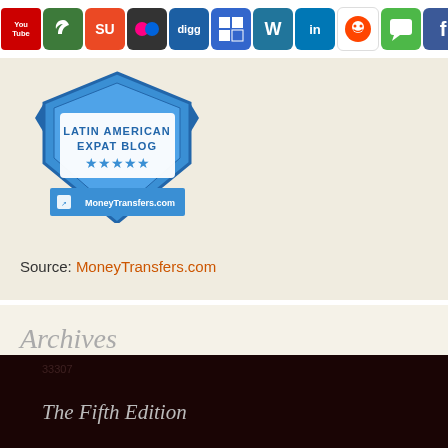[Figure (infographic): Latin American Expat Blog badge from MoneyTransfers.com with 5-star rating and social media icon bar above it]
Source: MoneyTransfers.com
Archives
Select Month
33307
The Fifth Edition